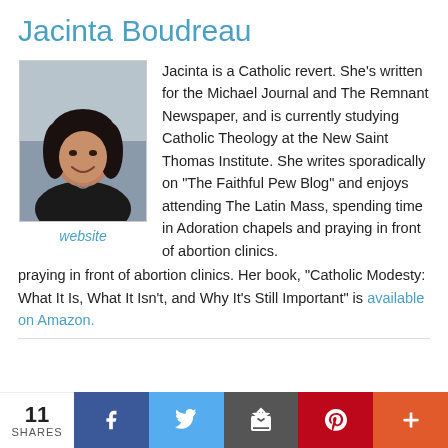Jacinta Boudreau
[Figure (photo): Headshot photo of Jacinta Boudreau, a woman with dark hair, smiling, wearing a black top and necklace]
website
Jacinta is a Catholic revert. She's written for the Michael Journal and The Remnant Newspaper, and is currently studying Catholic Theology at the New Saint Thomas Institute. She writes sporadically on "The Faithful Pew Blog" and enjoys attending The Latin Mass, spending time in Adoration chapels and praying in front of abortion clinics. Her book, "Catholic Modesty: What It Is, What It Isn't, and Why It's Still Important" is available on Amazon.
11 SHARES